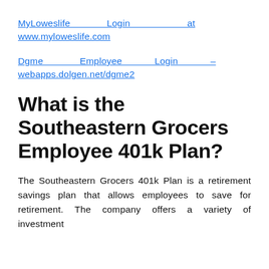MyLoweslife Login at www.myloweslife.com
Dgme Employee Login – webapps.dolgen.net/dgme2
What is the Southeastern Grocers Employee 401k Plan?
The Southeastern Grocers 401k Plan is a retirement savings plan that allows employees to save for retirement. The company offers a variety of investment